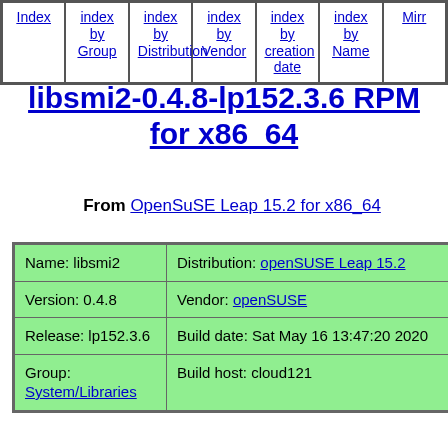Index | index by Group | index by Distribution | index by Vendor | index by creation date | index by Name | Mirr...
libsmi2-0.4.8-lp152.3.6 RPM for x86_64
From OpenSuSE Leap 15.2 for x86_64
| Field | Value |
| --- | --- |
| Name: libsmi2 | Distribution: openSUSE Leap 15.2 |
| Version: 0.4.8 | Vendor: openSUSE |
| Release: lp152.3.6 | Build date: Sat May 16 13:47:20 2020 |
| Group: System/Libraries | Build host: cloud121 |